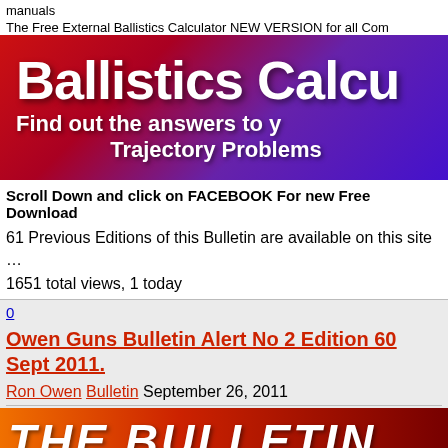manuals
The Free External Ballistics Calculator NEW VERSION for all Com
[Figure (illustration): Banner image with gradient background (red to purple) showing text 'Ballistics Calcu' (truncated), 'Find out the answers to y' (truncated), 'Trajectory Problems']
Scroll Down and click on FACEBOOK For new Free Download
61 Previous Editions of this Bulletin are available on this site
…
1651 total views, 1 today
0
Owen Guns Bulletin Alert No 2 Edition 60 Sept 2011.
Ron Owen Bulletin September 26, 2011
[Figure (illustration): Partial banner image showing 'THE BULLETIN' text in white italic bold letters on a red-orange gradient background]